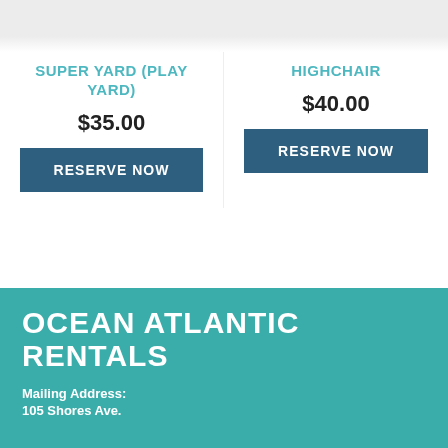[Figure (photo): Partial image of Super Yard / Play Yard product at top of page]
[Figure (photo): Partial image of Highchair product at top of page]
SUPER YARD (PLAY YARD)
$35.00
RESERVE NOW
HIGHCHAIR
$40.00
RESERVE NOW
OCEAN ATLANTIC RENTALS
Mailing Address:
105 Shores Ave.